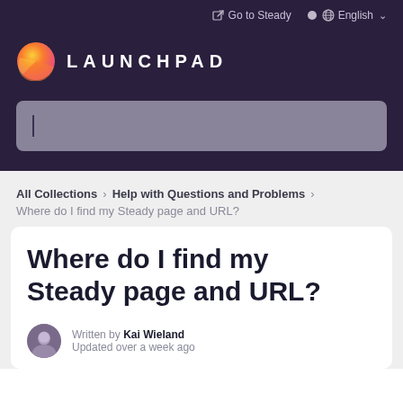Go to Steady   English
[Figure (logo): Launchpad logo: orange/yellow gradient circle with LAUNCHPAD text in white spaced letters]
[Figure (screenshot): Search input box with text cursor on dark purple background]
All Collections > Help with Questions and Problems >
Where do I find my Steady page and URL?
Where do I find my Steady page and URL?
Written by Kai Wieland
Updated over a week ago